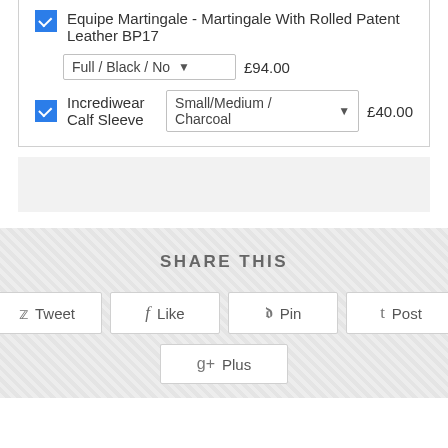Equipe Martingale - Martingale With Rolled Patent Leather BP17  Full / Black / No  £94.00
Incrediwear Calf Sleeve  Small/Medium / Charcoal  £40.00
[Figure (other): Gray empty band / placeholder area]
SHARE THIS
Tweet  Like  Pin  Post
Plus